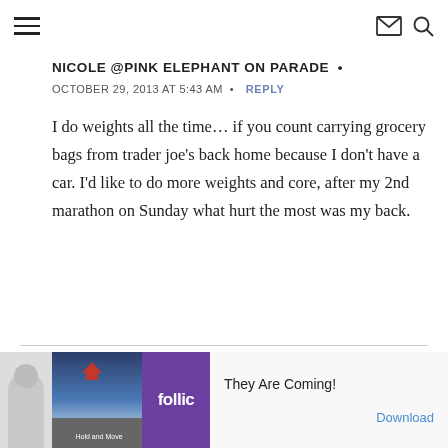Navigation header with hamburger menu, email icon, and search icon
NICOLE @PINK ELEPHANT ON PARADE •
OCTOBER 29, 2013 AT 5:43 AM  •  REPLY
I do weights all the time… if you count carrying grocery bags from trader joe's back home because I don't have a car. I'd like to do more weights and core, after my 2nd marathon on Sunday what hurt the most was my back.
[Figure (other): Advertisement banner with rollic game ad, 'They Are Coming!' text and Download button]